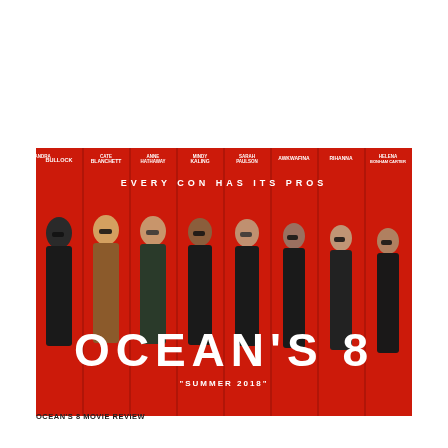[Figure (photo): Ocean's 8 movie poster on a red background. Eight women in sunglasses are shown in profile/side view, each in their own vertical panel. At the top are the actors' names: Sandra Bullock, Cate Blanchett, Anne Hathaway, Mindy Kaling, Sarah Paulson, Awkwafina, Rihanna, Helena Bonham Carter. Tagline reads 'EVERY CON HAS ITS PROS'. Large white text reads 'OCEAN'S 8' at the bottom, with 'SUMMER 2018' beneath.]
OCEAN'S 8 MOVIE REVIEW